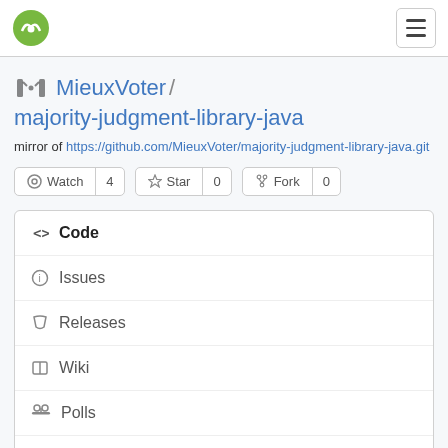Gitea logo and hamburger menu
MieuxVoter / majority-judgment-library-java
mirror of https://github.com/MieuxVoter/majority-judgment-library-java.git
Watch 4   Star 0   Fork 0
Code
Issues
Releases
Wiki
Polls
Activity